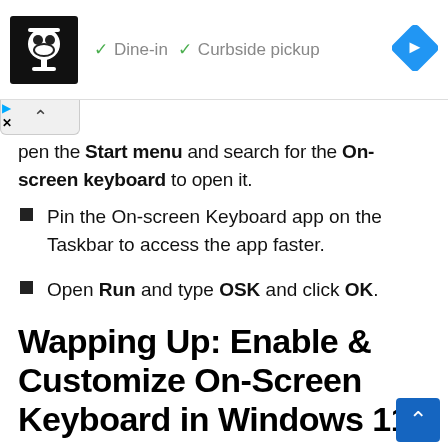[Figure (screenshot): Advertisement banner showing a restaurant logo, checkmarks for 'Dine-in' and 'Curbside pickup', and a blue diamond navigation icon]
open the Start menu and search for the On-screen keyboard to open it.
Pin the On-screen Keyboard app on the Taskbar to access the app faster.
Open Run and type OSK and click OK.
Wapping Up: Enable & Customize On-Screen Keyboard in Windows 11
The new touch keyboard offers emojis, clipboard, and more. In this section,